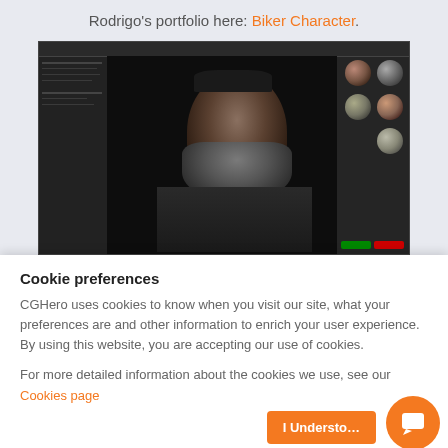Rodrigo's portfolio here: Biker Character.
[Figure (screenshot): Screenshot of a 3D rendering software (likely Marmoset Toolbag or similar) showing a realistic biker character with beard, bandana, and vest with patches. The interface shows toolbars and panels on left and right sides.]
Cookie preferences
CGHero uses cookies to know when you visit our site, what your preferences are and other information to enrich your user experience. By using this website, you are accepting our use of cookies.
For more detailed information about the cookies we use, see our Cookies page